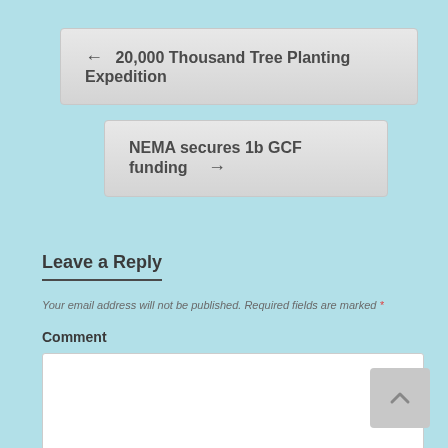← 20,000 Thousand Tree Planting Expedition
NEMA secures 1b GCF funding →
Leave a Reply
Your email address will not be published. Required fields are marked *
Comment